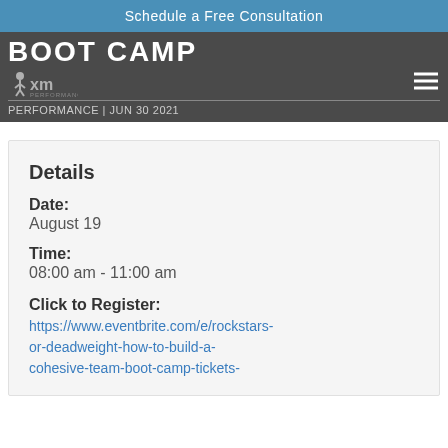Schedule a Free Consultation
BOOT CAMP
PERFORMANCE | JUN 30 2021
Details
Date:
August 19
Time:
08:00 am - 11:00 am
Click to Register:
https://www.eventbrite.com/e/rockstars-or-deadweight-how-to-build-a-cohesive-team-boot-camp-tickets-